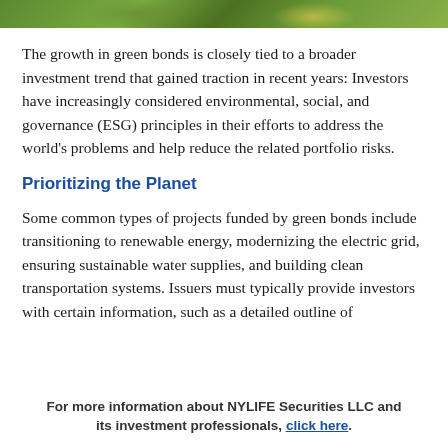[Figure (photo): Partial nature/botanical photo strip at top of page, showing green foliage and warm tones]
The growth in green bonds is closely tied to a broader investment trend that gained traction in recent years: Investors have increasingly considered environmental, social, and governance (ESG) principles in their efforts to address the world’s problems and help reduce the related portfolio risks.
Prioritizing the Planet
Some common types of projects funded by green bonds include transitioning to renewable energy, modernizing the electric grid, ensuring sustainable water supplies, and building clean transportation systems. Issuers must typically provide investors with certain information, such as a detailed outline of
For more information about NYLIFE Securities LLC and its investment professionals, click here.